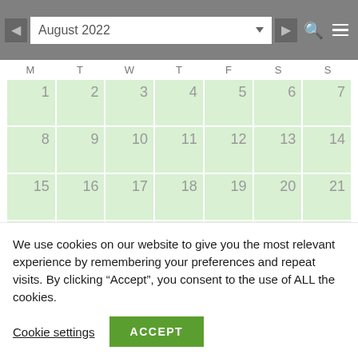August 2022
| M | T | W | T | F | S | S |
| --- | --- | --- | --- | --- | --- | --- |
| 1 | 2 | 3 | 4 | 5 | 6 | 7 |
| 8 | 9 | 10 | 11 | 12 | 13 | 14 |
| 15 | 16 | 17 | 18 | 19 | 20 | 21 |
| 22 | 23 | 24 | 25 | 26 | 27 | 28 |
We use cookies on our website to give you the most relevant experience by remembering your preferences and repeat visits. By clicking “Accept”, you consent to the use of ALL the cookies.
Cookie settings
ACCEPT